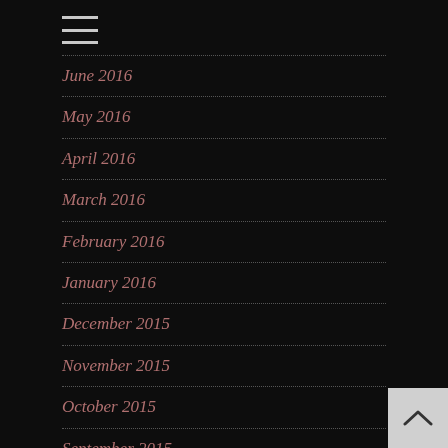[Figure (other): Hamburger menu icon - three horizontal lines]
June 2016
May 2016
April 2016
March 2016
February 2016
January 2016
December 2015
November 2015
October 2015
September 2015
August 2015